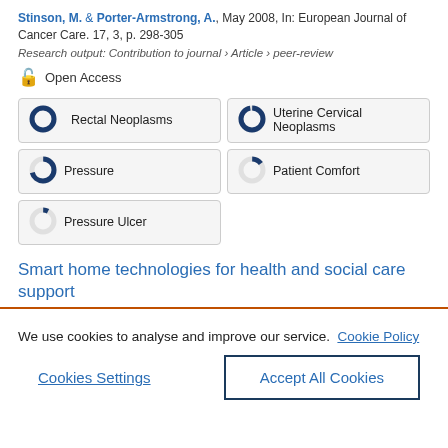Stinson, M. & Porter-Armstrong, A., May 2008, In: European Journal of Cancer Care. 17, 3, p. 298-305
Research output: Contribution to journal › Article › peer-review
Open Access
Rectal Neoplasms
Uterine Cervical Neoplasms
Pressure
Patient Comfort
Pressure Ulcer
Smart home technologies for health and social care support
We use cookies to analyse and improve our service. Cookie Policy
Cookies Settings
Accept All Cookies